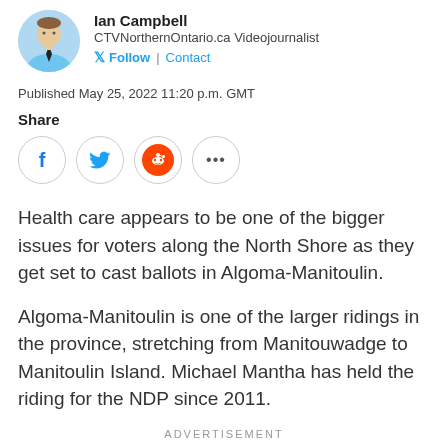[Figure (photo): Headshot photo of Ian Campbell, a man in a light blue shirt and black tie, circular crop]
Ian Campbell
CTVNorthernOntario.ca Videojournalist
🐦 Follow | Contact
Published May 25, 2022 11:20 p.m. GMT
Share
[Figure (infographic): Social share buttons: Facebook, Twitter, Reddit, More (ellipsis)]
Health care appears to be one of the bigger issues for voters along the North Shore as they get set to cast ballots in Algoma-Manitoulin.
Algoma-Manitoulin is one of the larger ridings in the province, stretching from Manitouwadge to Manitoulin Island. Michael Mantha has held the riding for the NDP since 2011.
ADVERTISEMENT